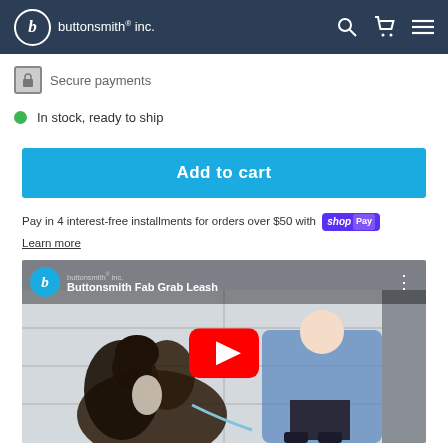buttonsmith® inc.
Secure payments
In stock, ready to ship
Add to cart
Pay in 4 interest-free installments for orders over $50 with shop Pay
Learn more
[Figure (screenshot): YouTube video thumbnail showing a boy with a large dog (Greater Swiss Mountain Dog) on a leash in front of a garage. Video title: Buttonsmith Fab Grab Leash. Shows YouTube play button overlay.]